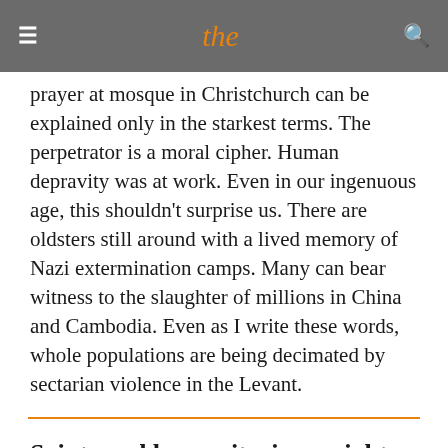≡  the  🔍
prayer at mosque in Christchurch can be explained only in the starkest terms. The perpetrator is a moral cipher. Human depravity was at work. Even in our ingenuous age, this shouldn't surprise us. There are oldsters still around with a lived memory of Nazi extermination camps. Many can bear witness to the slaughter of millions in China and Cambodia. Even as I write these words, whole populations are being decimated by sectarian violence in the Levant.
Saints and humanitarians might wish it otherwise, but there was never a time that transcended wickedness.